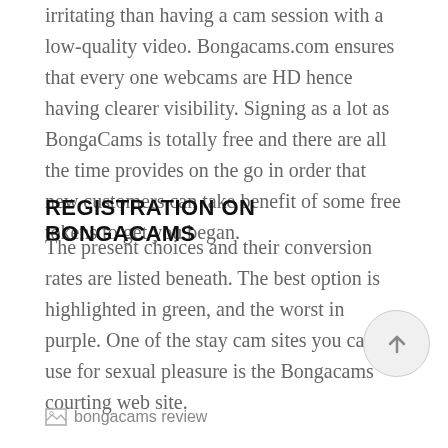irritating than having a cam session with a low-quality video. Bongacams.com ensures that every one webcams are HD hence having clearer visibility. Signing as a lot as BongaCams is totally free and there are all the time provides on the go in order that new customers can take benefit of some free tokens to get you began.
REGISTRATION ON BONGACAMS
The present choices and their conversion rates are listed beneath. The best option is highlighted in green, and the worst in purple. One of the stay cam sites you can use for sexual pleasure is the Bongacams courting web site.
[Figure (illustration): Broken image placeholder labeled 'bongacams review']